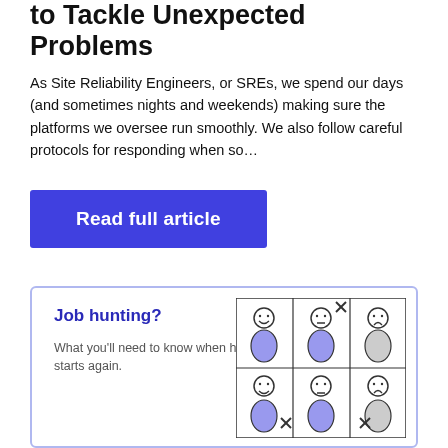to Tackle Unexpected Problems
As Site Reliability Engineers, or SREs, we spend our days (and sometimes nights and weekends) making sure the platforms we oversee run smoothly. We also follow careful protocols for responding when so…
Read full article
Job hunting?
What you'll need to know when hiring starts again.
[Figure (illustration): A 2x3 grid of stick figure people illustrations showing hiring/interview scenarios, some figures marked with X symbols, drawn in simple cartoon style with blue-tinted figures]